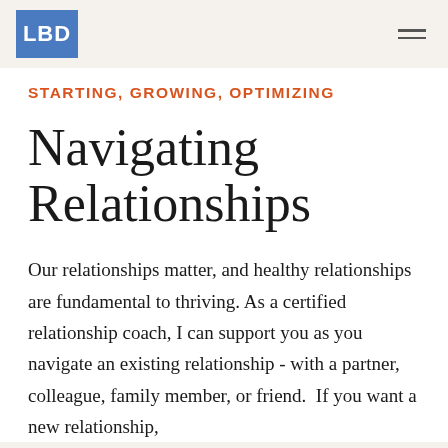[Figure (logo): LBD logo in blue square box, top left of header]
STARTING, GROWING, OPTIMIZING
Navigating Relationships
Our relationships matter, and healthy relationships are fundamental to thriving. As a certified relationship coach, I can support you as you navigate an existing relationship - with a partner, colleague, family member, or friend.  If you want a new relationship,